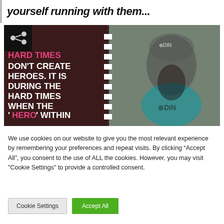yourself running with them...
[Figure (photo): Motivational quote image with dark red/maroon background on the left side reading 'HARD TIMES DON'T CREATE HEROES. IT IS DURING THE HARD TIMES WHEN THE HERO WITHIN US IS REVEALED.' with a bearded man wearing an ODIN branded beanie and t-shirt on the right side. Share icon in top-left corner.]
We use cookies on our website to give you the most relevant experience by remembering your preferences and repeat visits. By clicking “Accept All”, you consent to the use of ALL the cookies. However, you may visit "Cookie Settings" to provide a controlled consent.